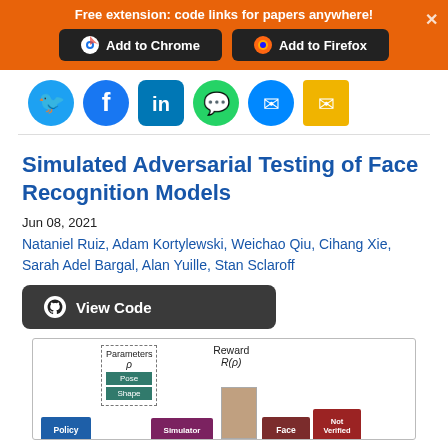[Figure (screenshot): Orange browser extension banner with 'Free extension: code links for papers anywhere!' text and 'Add to Chrome' and 'Add to Firefox' buttons on dark backgrounds]
[Figure (infographic): Row of social media sharing icons: Twitter, Facebook, LinkedIn, WhatsApp, Messenger, Email]
Simulated Adversarial Testing of Face Recognition Models
Jun 08, 2021
Nataniel Ruiz, Adam Kortylewski, Weichao Qiu, Cihang Xie, Sarah Adel Bargal, Alan Yuille, Stan Sclaroff
[Figure (other): View Code button with GitHub icon linking to code repository]
[Figure (flowchart): Diagram showing a reinforcement learning pipeline for adversarial face testing with blocks: Policy, Parameters (rho) with Pose and Shape, Simulator, face image, Face recognizer, and Not Verified output, with Reward R(rho) feedback.]